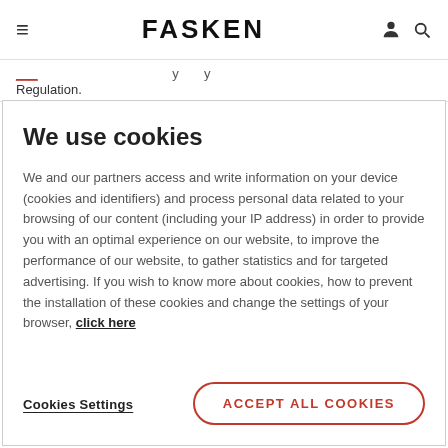FASKEN
Regulation.
We use cookies
We and our partners access and write information on your device (cookies and identifiers) and process personal data related to your browsing of our content (including your IP address) in order to provide you with an optimal experience on our website, to improve the performance of our website, to gather statistics and for targeted advertising. If you wish to know more about cookies, how to prevent the installation of these cookies and change the settings of your browser, click here
Cookies Settings
ACCEPT ALL COOKIES